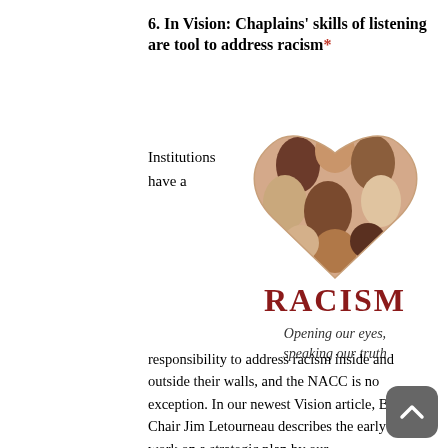6. In Vision: Chaplains' skills of listening are tool to address racism*
Institutions have a
[Figure (illustration): A heart-shaped illustration composed of diverse human silhouettes/profiles in various skin tone colors (browns, tans, beige), with the text 'RACISM' in large bold dark red letters below the heart, and the italic subtitle 'Opening our eyes, speaking our truth' beneath that.]
responsibility to address racism inside and outside their walls, and the NACC is no exception. In our newest Vision article, Board Chair Jim Letourneau describes the early work on a strategic plan by our